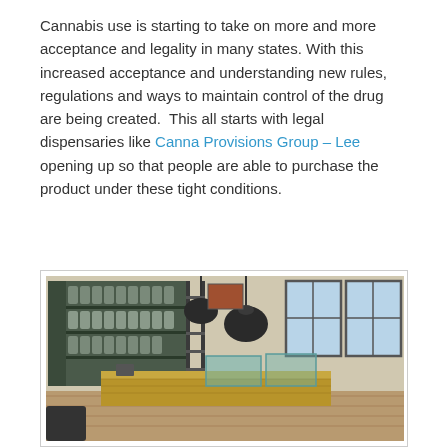Cannabis use is starting to take on more and more acceptance and legality in many states. With this increased acceptance and understanding new rules, regulations and ways to maintain control of the drug are being created.  This all starts with legal dispensaries like Canna Provisions Group – Lee opening up so that people are able to purchase the product under these tight conditions.
[Figure (photo): Interior of a cannabis dispensary showing retail shelves with products, industrial-style pendant lights, wooden display counters with glass cases, and large windows.]